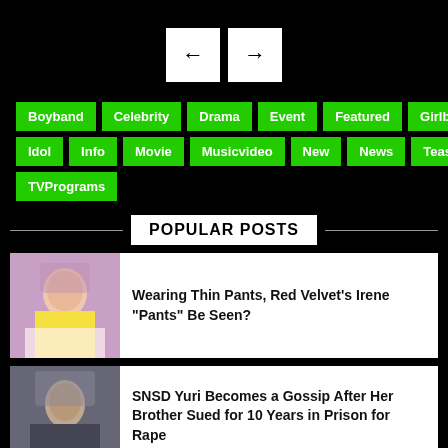[Figure (other): Navigation previous and next arrow buttons (white squares with arrows on black background)]
Boyband
Celebrity
Drama
Event
Featured
Girlband
Idol
Info
Movie
Musicvideo
New
News
Teaser
TVPrograms
POPULAR POSTS
Wearing Thin Pants, Red Velvet's Irene "Pants" Be Seen?
SNSD Yuri Becomes a Gossip After Her Brother Sued for 10 Years in Prison for Rape